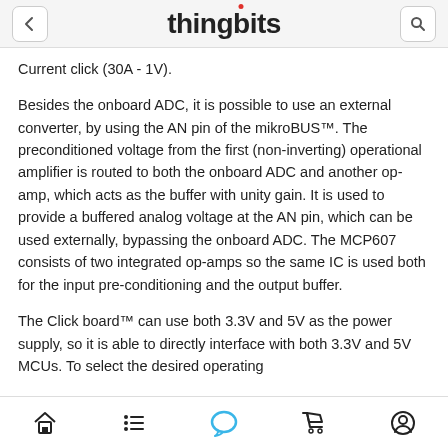thingbits
Current click (30A - 1V).
Besides the onboard ADC, it is possible to use an external converter, by using the AN pin of the mikroBUS™. The preconditioned voltage from the first (non-inverting) operational amplifier is routed to both the onboard ADC and another op-amp, which acts as the buffer with unity gain. It is used to provide a buffered analog voltage at the AN pin, which can be used externally, bypassing the onboard ADC. The MCP607 consists of two integrated op-amps so the same IC is used both for the input pre-conditioning and the output buffer.
The Click board™ can use both 3.3V and 5V as the power supply, so it is able to directly interface with both 3.3V and 5V MCUs. To select the desired operating
Home  List  Chat  Cart  Profile